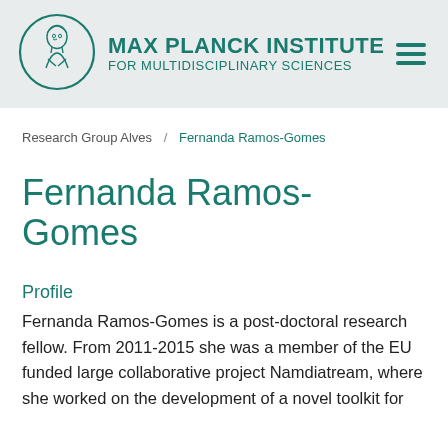[Figure (logo): Max Planck Institute for Multidisciplinary Sciences logo — circular emblem with Minerva figure and institute name in teal]
MAX PLANCK INSTITUTE FOR MULTIDISCIPLINARY SCIENCES
Research Group Alves / Fernanda Ramos-Gomes
Fernanda Ramos-Gomes
Profile
Fernanda Ramos-Gomes is a post-doctoral research fellow. From 2011-2015 she was a member of the EU funded large collaborative project Namdiatream, where she worked on the development of a novel toolkit for